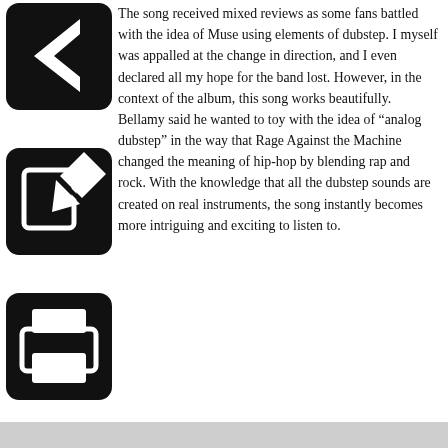The song received mixed reviews as some fans battled with the idea of Muse using elements of dubstep. I myself was appalled at the change in direction, and I even declared all my hope for the band lost. However, in the context of the album, this song works beautifully. Bellamy said he wanted to toy with the idea of “alog dubstep” in the way that Rage Against the Machine changed the meaning of hip-hop by blending rap and rock. With the knowledge that all the dubstep sounds are created on real instruments, the song instantly becomes more intriguing and exciting to listen to.
The 2nd Law: Isolated System takes a subtler approach to electronic/dance music. It also has classical influences, which creates a beautiful yet unsettling sonic atmosphere when coupled with sound clips of news reporters describing the disappearance of Earth’s resources. These are the sounds Muse fans love, the sounds that make this a Muse album.
Beneath the nods to Queen and other ’70s and ’80s arena rockers, beneath the analog dubstep, Muse kept to their roots and created a progressive yet familiar album.